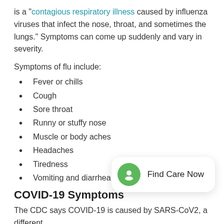is a "contagious respiratory illness caused by influenza viruses that infect the nose, throat, and sometimes the lungs." Symptoms can come up suddenly and vary in severity.
Symptoms of flu include:
Fever or chills
Cough
Sore throat
Runny or stuffy nose
Muscle or body aches
Headaches
Tiredness
Vomiting and diarrhea (Most common in children)
COVID-19 Symptoms
The CDC says COVID-19 is caused by SARS-CoV2, a different